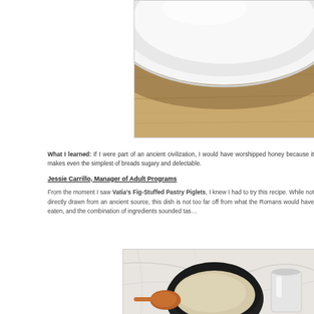[Figure (photo): Close-up of a white ceramic plate resting on a wooden surface, showing the curved rim of the plate against the warm wood grain background.]
What I learned: If I were part of an ancient civilization, I would have worshipped honey because it makes even the simplest of breads sugary and delectable.
Jessie Carrillo, Manager of Adult Programs
From the moment I saw Vatia's Fig-Stuffed Pastry Piglets, I knew I had to try this recipe. While not directly drawn from an ancient source, this dish is not too far off from what the Romans would have eaten, and the combination of ingredients sounded tas…
[Figure (photo): Overhead view of baking ingredients on a marble surface: a dark mixing bowl filled with flour or grain, a copper/amber colored spoon, and a silver measuring cup or pitcher.]